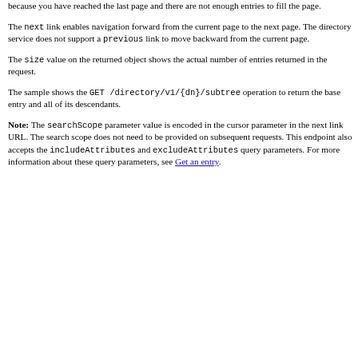Returns the descendants of the base entry, but not the base entry itself.
All list requests are paged. The limit parameter specifies the page size. However, the page size can be smaller than requested, either because the server has a configured maximum page size or because you have reached the last page and there are not enough entries to fill the page.
The next link enables navigation forward from the current page to the next page. The directory service does not support a previous link to move backward from the current page.
The size value on the returned object shows the actual number of entries returned in the request.
The sample shows the GET /directory/v1/{dn}/subtree operation to return the base entry and all of its descendants.
Note: The searchScope parameter value is encoded in the cursor parameter in the next link URL. The search scope does not need to be provided on subsequent requests. This endpoint also accepts the includeAttributes and excludeAttributes query parameters. For more information about these query parameters, see Get an entry.